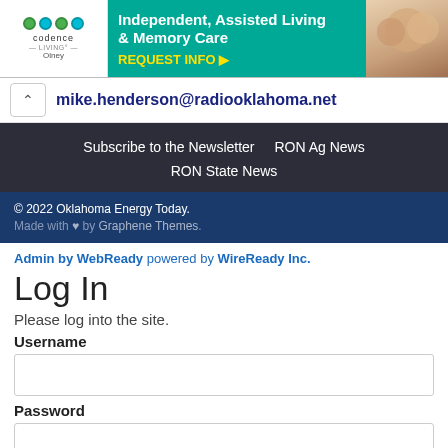[Figure (illustration): Advertisement banner for Codence Living Olney showing Independent, Assisted Living & Memory Care with REQUEST INFO button and photo of elderly people]
mike.henderson@radiooklahoma.net
Subscribe to the Newsletter   RON Ag News   RON State News
© 2022 Oklahoma Energy Today. Made with ♥ by Graphene Themes.
Admin by WebReady powered by WireReady Inc.
Log In
Please log into the site.
Username
Password
Remember Me